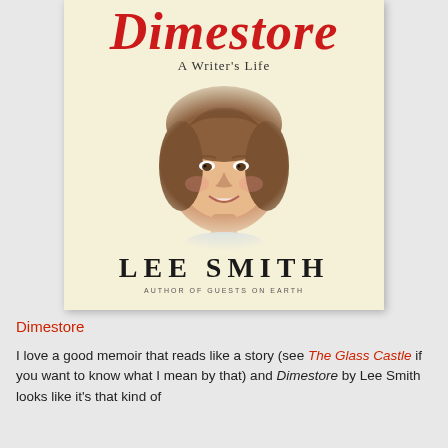[Figure (illustration): Book cover for 'Dimestore: A Writer's Life' by Lee Smith. Cream/yellow background with large red italic script title 'Dimestore' at top, subtitle 'A Writer's Life' beneath it, a vintage photograph-style portrait of a young girl with curly reddish-brown hair smiling in the center, author name 'LEE SMITH' in large bold serif capitals near the bottom, and small text 'AUTHOR OF GUESTS ON EARTH' beneath.]
Dimestore
I love a good memoir that reads like a story (see The Glass Castle if you want to know what I mean by that) and Dimestore by Lee Smith looks like it's that kind of